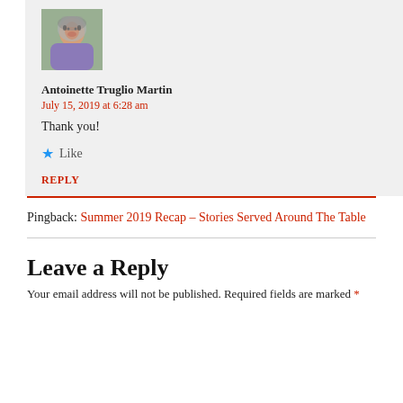[Figure (photo): Avatar photo of Antoinette Truglio Martin, an elderly woman smiling, wearing glasses and a purple top, outdoors with greenery.]
Antoinette Truglio Martin
July 15, 2019 at 6:28 am
Thank you!
★ Like
REPLY
Pingback: Summer 2019 Recap – Stories Served Around The Table
Leave a Reply
Your email address will not be published. Required fields are marked *